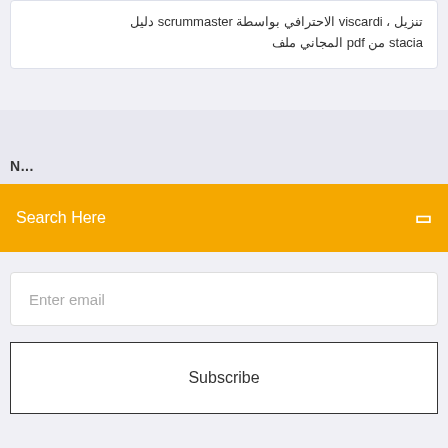تنزيل ، viscardi الاحترافي بواسطة scrummaster دليل stacia من pdf المجاني ملف
N...
Search Here
Enter email
Subscribe